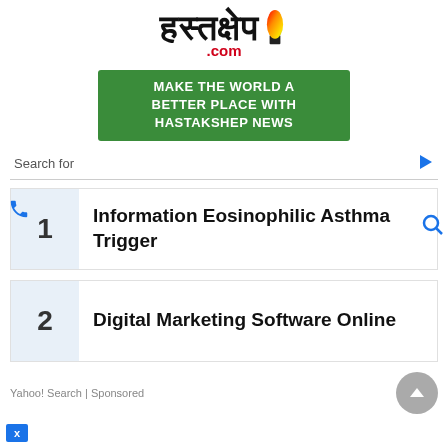[Figure (logo): Hastakshep.com logo with Hindi text and flame graphic]
[Figure (infographic): Green banner reading MAKE THE WORLD A BETTER PLACE WITH HASTAKSHEP NEWS]
Search for
1 Information Eosinophilic Asthma Trigger
2 Digital Marketing Software Online
Yahoo! Search | Sponsored